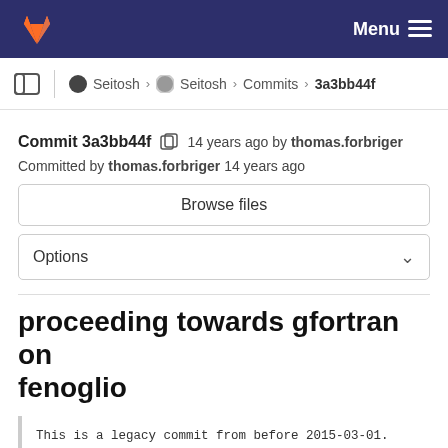Menu
Seitosh › Seitosh › Commits › 3a3bb44f
Commit 3a3bb44f  14 years ago by thomas.forbriger
Committed by thomas.forbriger 14 years ago
Browse files
Options
proceeding towards gfortran on fenoglio
This is a legacy commit from before 2015-03-01.
It may be incomplete as well as inconsistent.
See COPYING.legacy and README.history for details.
Imprint